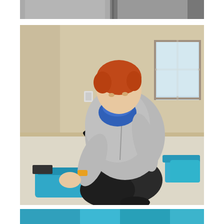[Figure (photo): Top portion of page showing two people in grayscale, cropped at torso level, wearing gray clothing against a dark background.]
[Figure (photo): A man with red/auburn hair wearing a blue face mask and gray zip-up jacket, kneeling on carpet and using a tablet device while operating blue equipment on the floor. Room has tan walls, carpeted floor, and a window in the background. Blue equipment/cases visible on the right side of the frame.]
[Figure (photo): Bottom strip showing blue equipment or material, partially visible at the bottom of the page.]